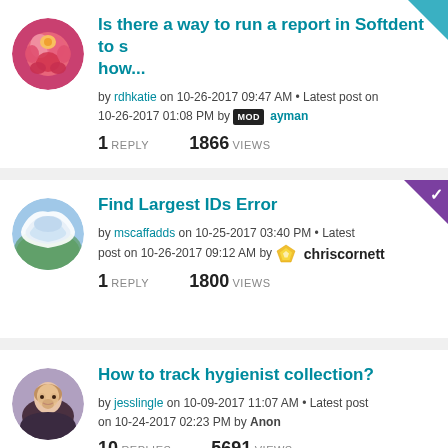Is there a way to run a report in Softdent to show...
by rdhkatie on 10-26-2017 09:47 AM • Latest post on 10-26-2017 01:08 PM by MOD ayman
1 REPLY   1866 VIEWS
Find Largest IDs Error
by mscaffadds on 10-25-2017 03:40 PM • Latest post on 10-26-2017 09:12 AM by chriscornett
1 REPLY   1800 VIEWS
How to track hygienist collection?
by jesslingle on 10-09-2017 11:07 AM • Latest post on 10-24-2017 02:23 PM by Anon
10 REPLIES   5691 VIEWS